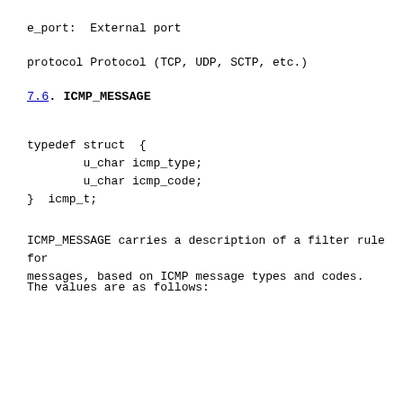e_port:  External port
protocol Protocol (TCP, UDP, SCTP, etc.)
7.6.  ICMP_MESSAGE
typedef struct  {
        u_char icmp_type;
        u_char icmp_code;
}  icmp_t;
ICMP_MESSAGE carries a description of a filter rule for
messages, based on ICMP message types and codes.
The values are as follows: